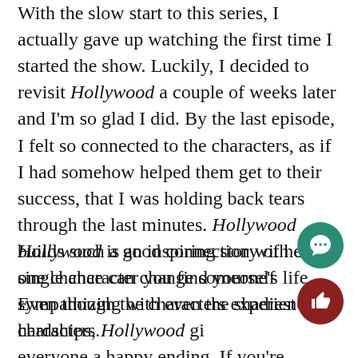With the slow start to this series, I actually gave up watching the first time I started the show. Luckily, I decided to revisit Hollywood a couple of weeks later and I'm so glad I did. By the last episode, I felt so connected to the characters, as if I had somehow helped them get to their success, that I was holding back tears through the last minutes. Hollywood builds such a good connection with every single character you find yourself sympathizing with even the shadiest of characters.
Hollywood is an inspiring story of how one chance can change someone's life. Even though the characters experience hardships, Hollywood gives everyone a happy ending. If you're looking for an emotional, entertaining, and easy watch,